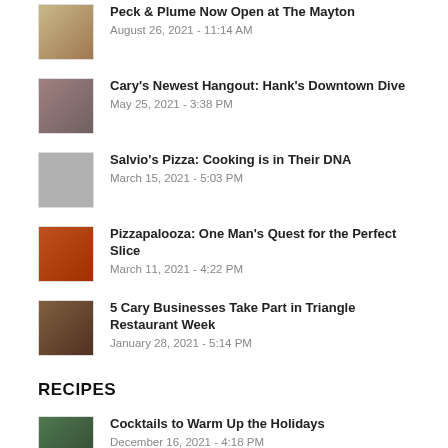Peck & Plume Now Open at The Mayton
August 26, 2021 - 11:14 AM
Cary's Newest Hangout: Hank's Downtown Dive
May 25, 2021 - 3:38 PM
Salvio's Pizza: Cooking is in Their DNA
March 15, 2021 - 5:03 PM
Pizzapalooza: One Man's Quest for the Perfect Slice
March 11, 2021 - 4:22 PM
5 Cary Businesses Take Part in Triangle Restaurant Week
January 28, 2021 - 5:14 PM
RECIPES
Cocktails to Warm Up the Holidays
December 16, 2021 - 4:18 PM
Authentic Bites for Your 2021 Cinco de Mayo
May 4, 2021 - 12:27 PM